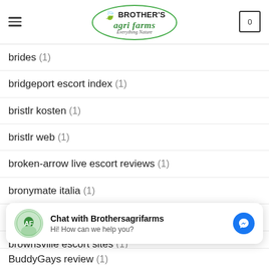Brother's Agri Farms - Everything Nature
brides (1)
bridgeport escort index (1)
bristlr kosten (1)
bristlr web (1)
broken-arrow live escort reviews (1)
bronymate italia (1)
bronymate preise (1)
brownsville escort sites (1)
BuddyGays review (1)